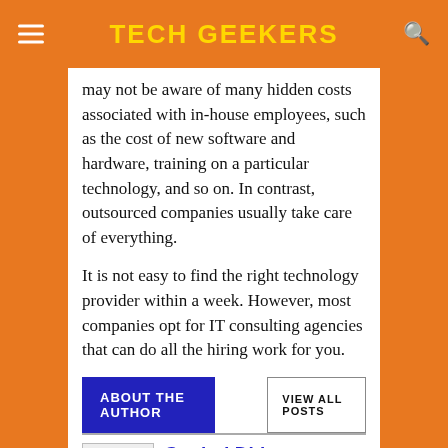TECH GEEKERS
may not be aware of many hidden costs associated with in-house employees, such as the cost of new software and hardware, training on a particular technology, and so on. In contrast, outsourced companies usually take care of everything.
It is not easy to find the right technology provider within a week. However, most companies opt for IT consulting agencies that can do all the hiring work for you.
ABOUT THE AUTHOR
VIEW ALL POSTS
Govind Dhiman
Hi, I am Govind Dhiman passionate